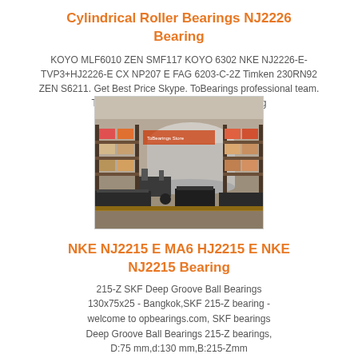Cylindrical Roller Bearings NJ2226 Bearing
KOYO MLF6010 ZEN SMF117 KOYO 6302 NKE NJ2226-E-TVP3+HJ2226-E CX NP207 E FAG 6203-C-2Z Timken 230RN92 ZEN S6211. Get Best Price Skype. ToBearings professional team. ToBearings advanced automated bearing production ... her the ... d techno ... f high
[Figure (photo): Warehouse with stacked boxes and bearings on pallets with shelving racks in background]
NKE NJ2215 E MA6 HJ2215 E NKE NJ2215 Bearing
215-Z SKF Deep Groove Ball Bearings 130x75x25 - Bangkok,SKF 215-Z bearing - welcome to opbearings.com, SKF bearings Deep Groove Ball Bearings 215-Z bearings, D:75 mm,d:130 mm,B:215-Zmm